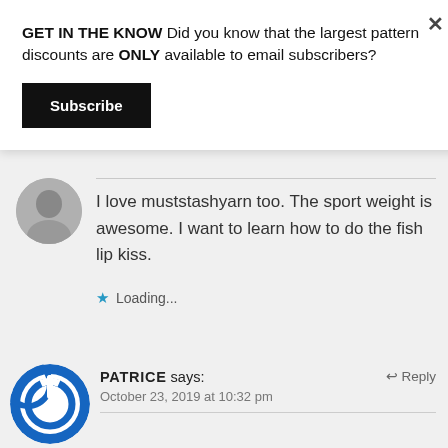GET IN THE KNOW Did you know that the largest pattern discounts are ONLY available to email subscribers?
Subscribe
I love muststashyarn too. The sport weight is awesome. I want to learn how to do the fish lip kiss.
★ Loading...
PATRICE says: ↵ Reply October 23, 2019 at 10:32 pm